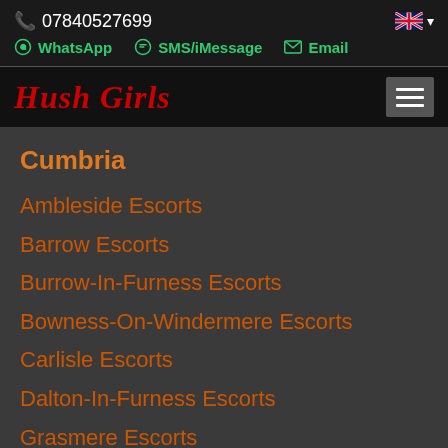07840527699
WhatsApp  SMS/iMessage  Email
Hush Girls
Cumbria
Ambleside Escorts
Barrow Escorts
Burrow-In-Furness Escorts
Bowness-On-Windermere Escorts
Carlisle Escorts
Dalton-In-Furness Escorts
Grasmere Escorts
Kendal Escorts
Keswick Escorts